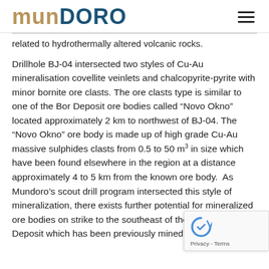MUNDORO
related to hydrothermally altered volcanic rocks.
Drillhole BJ-04 intersected two styles of Cu-Au mineralisation covellite veinlets and chalcopyrite-pyrite with minor bornite ore clasts. The ore clasts type is similar to one of the Bor Deposit ore bodies called “Novo Okno” located approximately 2 km to northwest of BJ-04. The “Novo Okno” ore body is made up of high grade Cu-Au massive sulphides clasts from 0.5 to 50 m³ in size which have been found elsewhere in the region at a distance approximately 4 to 5 km from the known ore body.  As Mundoro’s scout drill program intersected this style of mineralization, there exists further potential for mineralized ore bodies on strike to the southeast of the main Bor Deposit which has been previously mined by Bor Group.